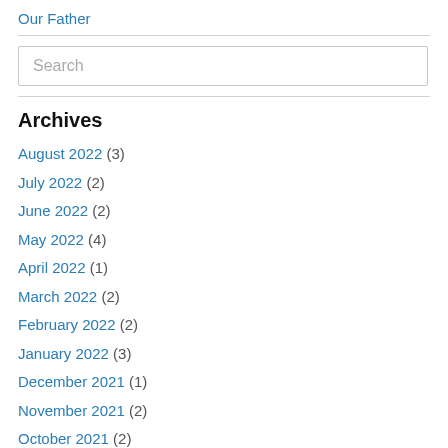Our Father
Search
Archives
August 2022 (3)
July 2022 (2)
June 2022 (2)
May 2022 (4)
April 2022 (1)
March 2022 (2)
February 2022 (2)
January 2022 (3)
December 2021 (1)
November 2021 (2)
October 2021 (2)